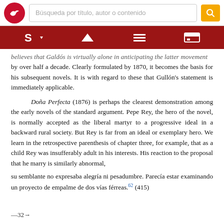[Figure (screenshot): Top navigation bar with red logo circle containing a bird/checkmark, a search box labeled 'Búsqueda por título, autor o contenido', and a yellow search button with magnifying glass icon.]
[Figure (screenshot): Dark red toolbar with navigation icons: stylized S logo with dropdown arrow, up-caret/home icon, list/menu icon, and layout/view icon.]
believes that Galdós is virtually alone in anticipating the latter movement by over half a decade. Clearly formulated by 1870, it becomes the basis for his subsequent novels. It is with regard to these that Gullón's statement is immediately applicable.
Doña Perfecta (1876) is perhaps the clearest demonstration among the early novels of the standard argument. Pepe Rey, the hero of the novel, is normally accepted as the liberal martyr to a progressive ideal in a backward rural society. But Rey is far from an ideal or exemplary hero. We learn in the retrospective parenthesis of chapter three, for example, that as a child Rey was insufferably adult in his interests. His reaction to the proposal that he marry is similarly abnormal,
su semblante no expresaba alegría ni pesadumbre. Parecía estar examinando un proyecto de empalme de dos vías férreas.62 (415)
—32→